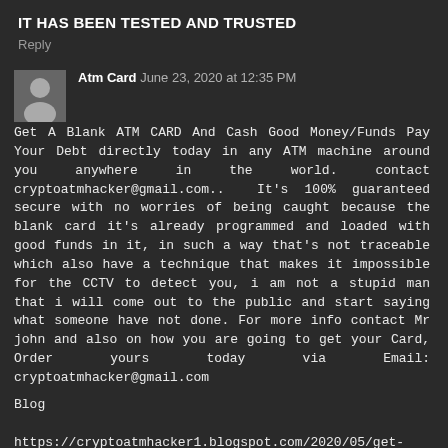IT HAS BEEN TESTED AND TRUSTED
Reply
Atm Card  June 23, 2020 at 12:35 PM
Get A Blank ATM CARD And Cash Good Money/Funds Pay Your Debt directly today in any ATM machine around you anywhere in the world. contact cryptoatmhacker@gmail.com.. It's 100% guaranteed secure with no worries of being caught because the blank card it's already programmed and loaded with good funds in it, in such a way that's not traceable which also have a technique that makes it impossible for the CCTV to detect you, i am not a stupid man that i will come out to the public and start saying what someone have not done. For more info contact Mr john and also on how you are going to get your Card, Order yours today via Email: cryptoatmhacker@gmail.com
Blog Site: https://cryptoatmhacker1.blogspot.com/2020/05/get-blank-atm-card-and-cash-good.html
Reply